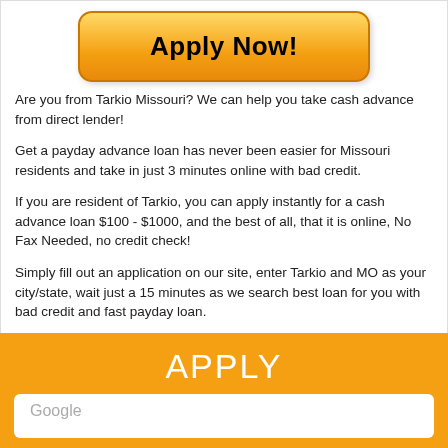[Figure (other): Orange rounded button with bold text 'Apply Now!']
Are you from Tarkio Missouri? We can help you take cash advance from direct lender!
Get a payday advance loan has never been easier for Missouri residents and take in just 3 minutes online with bad credit.
If you are resident of Tarkio, you can apply instantly for a cash advance loan $100 - $1000, and the best of all, that it is online, No Fax Needed, no credit check!
Simply fill out an application on our site, enter Tarkio and MO as your city/state, wait just a 15 minutes as we search best loan for you with bad credit and fast payday loan.
APPLY NOW!
APPLY
Google